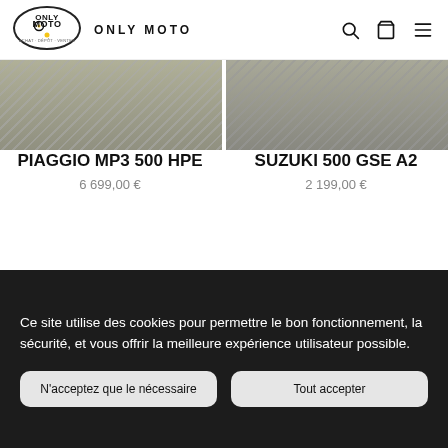ONLY MOTO
PIAGGIO MP3 500 HPE
6 699,00 €
SUZUKI 500 GSE A2
2 199,00 €
Ce site utilise des cookies pour permettre le bon fonctionnement, la sécurité, et vous offrir la meilleure expérience utilisateur possible.
N'acceptez que le nécessaire
Tout accepter